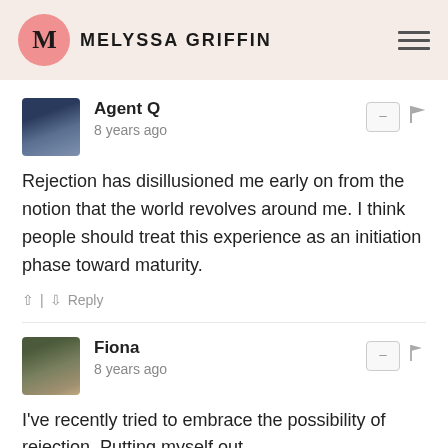MELYSSA GRIFFIN
Agent Q
8 years ago
Rejection has disillusioned me early on from the notion that the world revolves around me. I think people should treat this experience as an initiation phase toward maturity.
Fiona
8 years ago
I've recently tried to embrace the possibility of rejection. Putting myself out